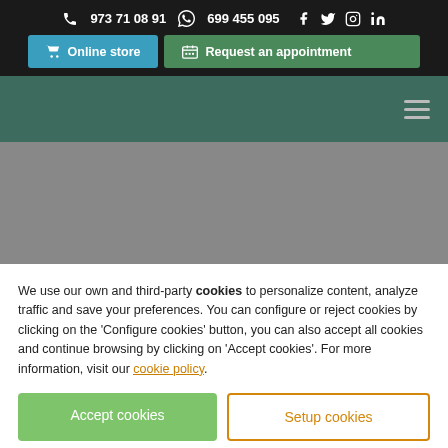973 71 08 91   699 455 095
[Figure (screenshot): Navigation buttons: Online store (teal) and Request an appointment (green)]
[Figure (screenshot): Navigation bar with hamburger menu icon on dark green background]
[Figure (photo): Hero image area with grey background]
We use our own and third-party cookies to personalize content, analyze traffic and save your preferences. You can configure or reject cookies by clicking on the 'Configure cookies' button, you can also accept all cookies and continue browsing by clicking on 'Accept cookies'. For more information, visit our cookie policy.
Accept cookies
Setup cookies